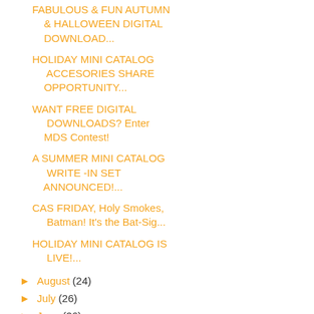FABULOUS & FUN AUTUMN & HALLOWEEN DIGITAL DOWNLOAD...
HOLIDAY MINI CATALOG ACCESORIES SHARE OPPORTUNITY...
WANT FREE DIGITAL DOWNLOADS? Enter MDS Contest!
A SUMMER MINI CATALOG WRITE -IN SET ANNOUNCED!...
CAS FRIDAY, Holy Smokes, Batman! It's the Bat-Sig...
HOLIDAY MINI CATALOG IS LIVE!...
► August (24)
► July (26)
► June (26)